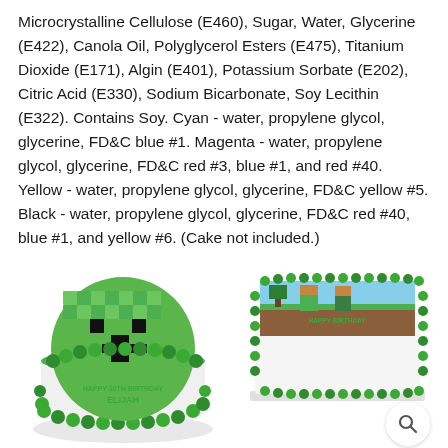Microcrystalline Cellulose (E460), Sugar, Water, Glycerine (E422), Canola Oil, Polyglycerol Esters (E475), Titanium Dioxide (E171), Algin (E401), Potassium Sorbate (E202), Citric Acid (E330), Sodium Bicarbonate, Soy Lecithin (E322). Contains Soy. Cyan - water, propylene glycol, glycerine, FD&C blue #1. Magenta - water, propylene glycol, glycerine, FD&C red #3, blue #1, and red #40. Yellow - water, propylene glycol, glycerine, FD&C yellow #5. Black - water, propylene glycol, glycerine, FD&C red #40, blue #1, and yellow #6. (Cake not included.)
[Figure (photo): Round cake decorated with Minecraft Creeper face in green pixelated pattern, green frosting border, text 'HAPPY 10TH BIRTHDAY ELIJAH' on the cake]
[Figure (photo): Rectangular sheet cake with Minecraft scene edible image, green frosting border, 'HAPPY BIRTHDAY' text on cake]